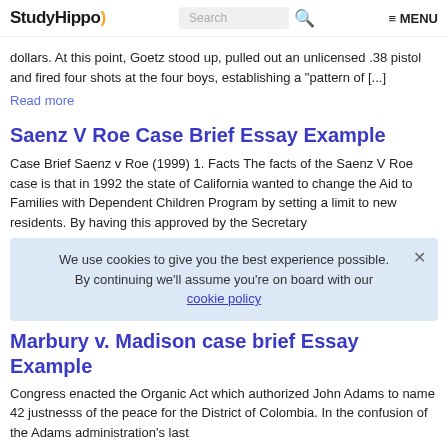StudyHippo | Search | MENU
dollars. At this point, Goetz stood up, pulled out an unlicensed .38 pistol and fired four shots at the four boys, establishing a "pattern of [...]
Read more
Saenz V Roe Case Brief Essay Example
Case Brief Saenz v Roe (1999) 1. Facts The facts of the Saenz V Roe case is that in 1992 the state of California wanted to change the Aid to Families with Dependent Children Program by setting a limit to new residents. By having this approved by the Secretary
We use cookies to give you the best experience possible. By continuing we'll assume you're on board with our cookie policy
Marbury v. Madison case brief Essay Example
Congress enacted the Organic Act which authorized John Adams to name 42 justnesss of the peace for the District of Colombia. In the confusion of the Adams administration's last